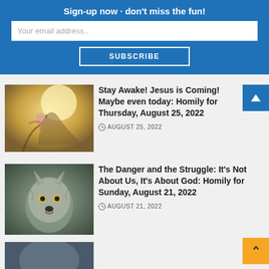Sign-up now - don't miss the fun!
Your email address..
SUBSCRIBE
Stay Awake! Jesus is Coming! Maybe even today: Homily for Thursday, August 25, 2022
AUGUST 25, 2022
[Figure (photo): Person with arms outstretched in sunlight outdoors]
The Danger and the Struggle: It's Not About Us, It's About God: Homily for Sunday, August 21, 2022
AUGUST 21, 2022
[Figure (photo): Close-up of a wolf face]
[Figure (photo): Partial image at bottom, partially visible]